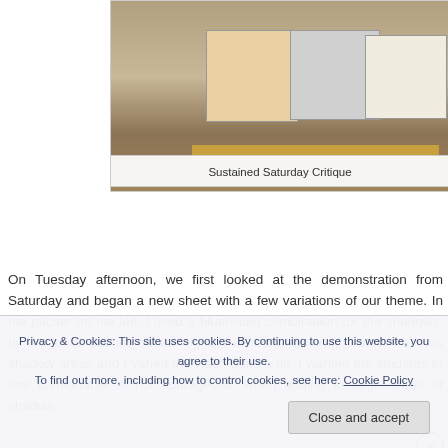[Figure (photo): Photograph showing three student artworks (still life paintings with pitchers and oranges) displayed on a wooden shelf against a wall]
Sustained Saturday Critique
On Tuesday afternoon, we first looked at the demonstration from Saturday and began a new sheet with a few variations of our theme. In the pitcher on the left, I used a blue/violet combination for the shadows. In the small pitcher on the right, I deliberately exaggerated the dark shadow areas and I varied the wash quite a bit. I wanted the students to feel comfortable, if not courageous, when adding in large areas of shadow.
Privacy & Cookies: This site uses cookies. By continuing to use this website, you agree to their use.
To find out more, including how to control cookies, see here: Cookie Policy
Close and accept